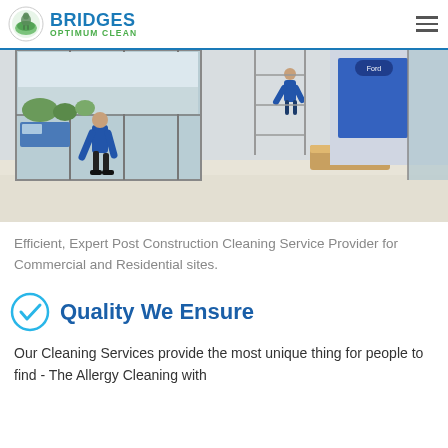BRIDGES OPTIMUM CLEAN
[Figure (photo): Two workers in blue shirts cleaning large glass windows/facade of a modern commercial building interior, with scaffolding and a reception desk visible in the background.]
Efficient, Expert Post Construction Cleaning Service Provider for Commercial and Residential sites.
Quality We Ensure
Our Cleaning Services provide the most unique thing for people to find - The Allergy Cleaning with